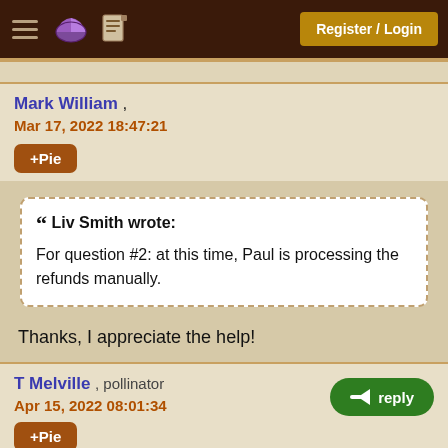Register / Login
Mark William , Mar 17, 2022 18:47:21
« Liv Smith wrote: For question #2: at this time, Paul is processing the refunds manually.
Thanks, I appreciate the help!
T Melville , pollinator Apr 15, 2022 08:01:34